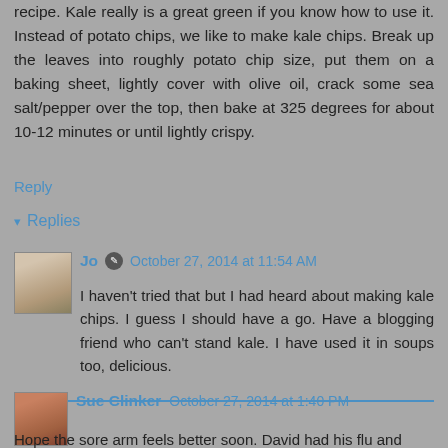recipe. Kale really is a great green if you know how to use it. Instead of potato chips, we like to make kale chips. Break up the leaves into roughly potato chip size, put them on a baking sheet, lightly cover with olive oil, crack some sea salt/pepper over the top, then bake at 325 degrees for about 10-12 minutes or until lightly crispy.
Reply
▾ Replies
Jo  October 27, 2014 at 11:54 AM
I haven't tried that but I had heard about making kale chips. I guess I should have a go. Have a blogging friend who can't stand kale. I have used it in soups too, delicious.
Reply
Sue Clinker  October 27, 2014 at 1:40 PM
Hope the sore arm feels better soon. David had his flu and